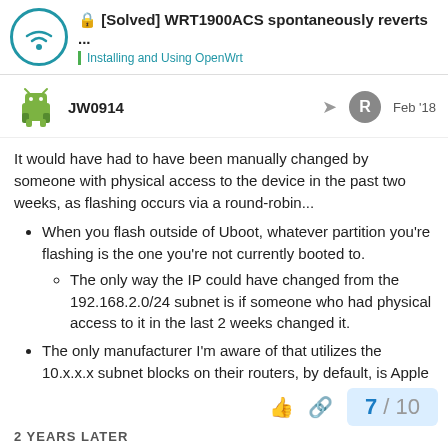[Solved] WRT1900ACS spontaneously reverts ... | Installing and Using OpenWrt
JW0914  Feb '18
It would have had to have been manually changed by someone with physical access to the device in the past two weeks, as flashing occurs via a round-robin...
When you flash outside of Uboot, whatever partition you're flashing is the one you're not currently booted to.
The only way the IP could have changed from the 192.168.2.0/24 subnet is if someone who had physical access to it in the last 2 weeks changed it.
The only manufacturer I'm aware of that utilizes the 10.x.x.x subnet blocks on their routers, by default, is Apple
7 / 10
2 YEARS LATER